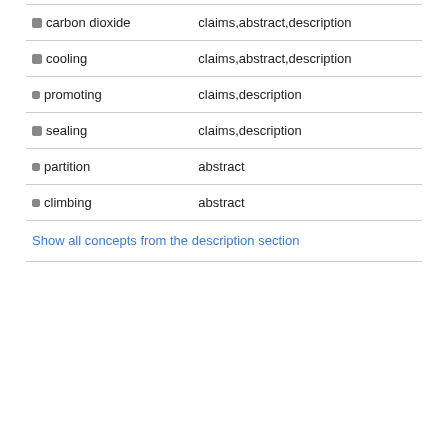| Concept | Sources |
| --- | --- |
| carbon dioxide | claims,abstract,description |
| cooling | claims,abstract,description |
| promoting | claims,description |
| sealing | claims,description |
| partition | abstract |
| climbing | abstract |
| Show all concepts from the description section |  |